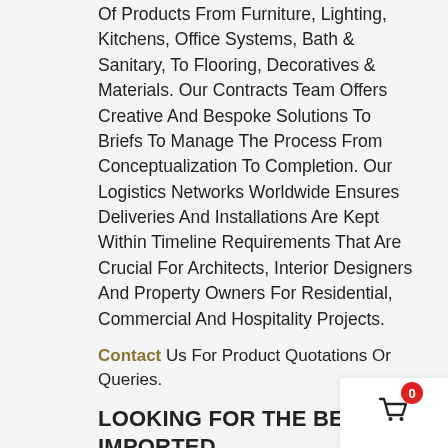Of Products From Furniture, Lighting, Kitchens, Office Systems, Bath & Sanitary, To Flooring, Decoratives & Materials. Our Contracts Team Offers Creative And Bespoke Solutions To Briefs To Manage The Process From Conceptualization To Completion. Our Logistics Networks Worldwide Ensures Deliveries And Installations Are Kept Within Timeline Requirements That Are Crucial For Architects, Interior Designers And Property Owners For Residential, Commercial And Hospitality Projects.
Contact Us For Product Quotations Or Queries.
LOOKING FOR THE BEST IMPORTED LUXURY FURNITURE BRANDS ABOVE ? [ CALL US | EMAIL US ]
[ ACCESS: ALL NEWS | BRABBU CATALOGS | MORE CONTRACTS BRANDS ]
[Figure (other): Shopping cart icon with red badge showing 0]